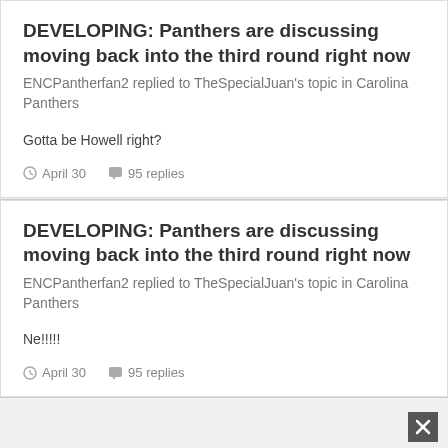DEVELOPING: Panthers are discussing moving back into the third round right now
ENCPantherfan2 replied to TheSpecialJuan's topic in Carolina Panthers
Gotta be Howell right?
April 30   95 replies
DEVELOPING: Panthers are discussing moving back into the third round right now
ENCPantherfan2 replied to TheSpecialJuan's topic in Carolina Panthers
Ne!!!!!
April 30   95 replies